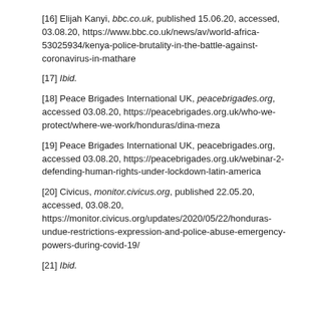[16] Elijah Kanyi, bbc.co.uk, published 15.06.20, accessed, 03.08.20, https://www.bbc.co.uk/news/av/world-africa-53025934/kenya-police-brutality-in-the-battle-against-coronavirus-in-mathare
[17] Ibid.
[18] Peace Brigades International UK, peacebrigades.org, accessed 03.08.20, https://peacebrigades.org.uk/who-we-protect/where-we-work/honduras/dina-meza
[19] Peace Brigades International UK, peacebrigades.org, accessed 03.08.20, https://peacebrigades.org.uk/webinar-2-defending-human-rights-under-lockdown-latin-america
[20] Civicus, monitor.civicus.org, published 22.05.20, accessed, 03.08.20, https://monitor.civicus.org/updates/2020/05/22/honduras-undue-restrictions-expression-and-police-abuse-emergency-powers-during-covid-19/
[21] Ibid.